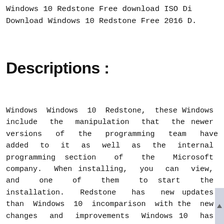Windows 10 Redstone Free download ISO Di
Download Windows 10 Redstone Free 2016 D.
Descriptions :
Windows Windows 10 Redstone, these Windows include the manipulation that the newer versions of the programming team have added to it as well as the internal programming section of the Microsoft company. When installing, you can view, and one of them to start the installation. Redstone has new updates than Windows 10 incomparison with the new changes and improvements Windows 10 has the featuresof the set and the design of the Windows. A lot of changes, Redstone has 10 Windows Update for Windows Mobile is not